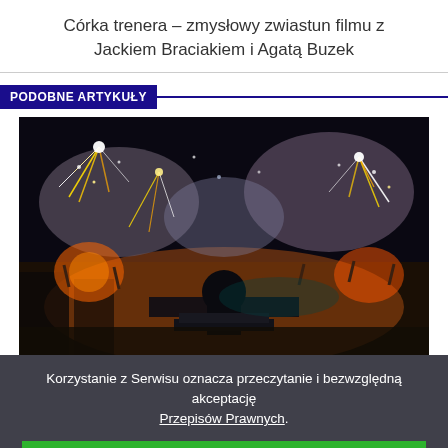Córka trenera – zmysłowy zwiastun filmu z Jackiem Braciakiem i Agatą Buzek
PODOBNE ARTYKUŁY
[Figure (photo): A DJ on stage performing at a large outdoor concert. The DJ is seen from behind wearing a black t-shirt, standing at a DJ booth. In front is a massive crowd with raised hands. Behind is a spectacular display of fireworks, pyrotechnics and smoke in orange, white and purple colors against a dark night sky.]
Korzystanie z Serwisu oznacza przeczytanie i bezwzględną akceptację Przepisów Prawnych.
AKCEPTUJĘ PRZEPISY PRAWNE